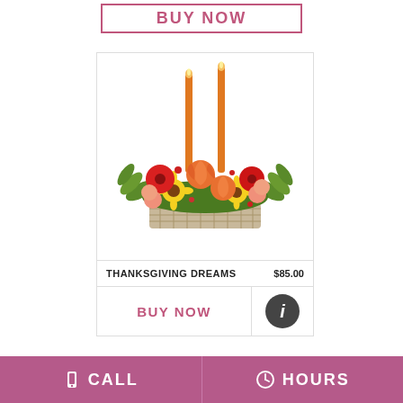BUY NOW
[Figure (photo): Thanksgiving floral arrangement in a wicker basket with orange roses, red and yellow gerbera daisies, sunflowers, carnations, greenery, and two tall orange taper candles. Product name: THANKSGIVING DREAMS, Price: $85.00]
THANKSGIVING DREAMS    $85.00
BUY NOW
CALL   HOURS